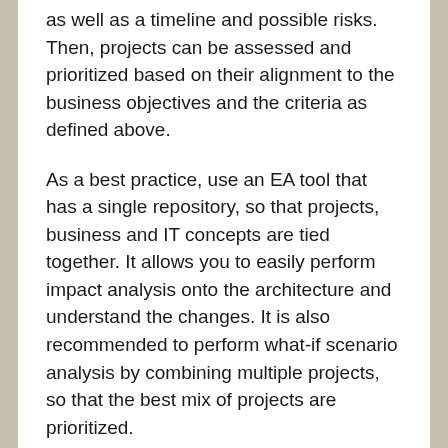as well as a timeline and possible risks. Then, projects can be assessed and prioritized based on their alignment to the business objectives and the criteria as defined above.
As a best practice, use an EA tool that has a single repository, so that projects, business and IT concepts are tied together. It allows you to easily perform impact analysis onto the architecture and understand the changes. It is also recommended to perform what-if scenario analysis by combining multiple projects, so that the best mix of projects are prioritized.
4.       Build an IT roadmap, monitor progress, and continuously adjust